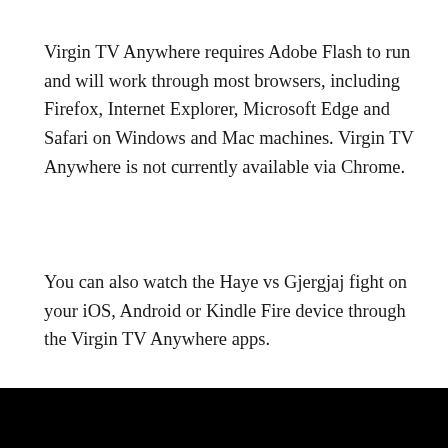Virgin TV Anywhere requires Adobe Flash to run and will work through most browsers, including Firefox, Internet Explorer, Microsoft Edge and Safari on Windows and Mac machines. Virgin TV Anywhere is not currently available via Chrome.
You can also watch the Haye vs Gjergjaj fight on your iOS, Android or Kindle Fire device through the Virgin TV Anywhere apps.
[Figure (other): Social share buttons: Facebook (blue), Twitter (light blue), Plus/share (orange-red)]
[Figure (other): Black rectangle at bottom of page (video player or image)]